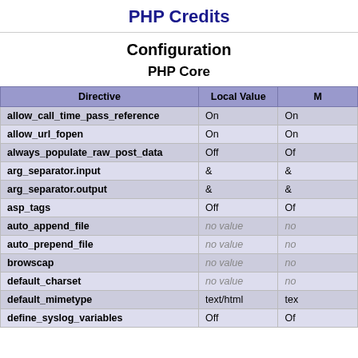PHP Credits
Configuration
PHP Core
| Directive | Local Value | Master Value |
| --- | --- | --- |
| allow_call_time_pass_reference | On | On |
| allow_url_fopen | On | On |
| always_populate_raw_post_data | Off | Off |
| arg_separator.input | & | & |
| arg_separator.output | & | & |
| asp_tags | Off | Off |
| auto_append_file | no value | no value |
| auto_prepend_file | no value | no value |
| browscap | no value | no value |
| default_charset | no value | no value |
| default_mimetype | text/html | text/html |
| define_syslog_variables | Off | Off |